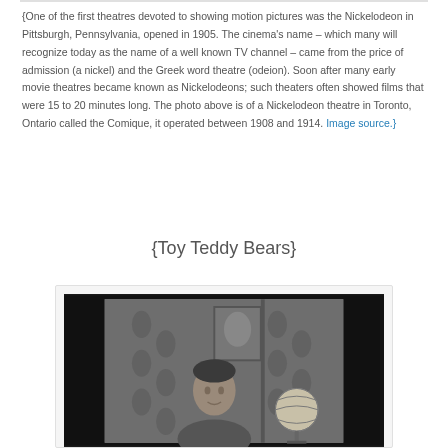{One of the first theatres devoted to showing motion pictures was the Nickelodeon in Pittsburgh, Pennsylvania, opened in 1905. The cinema's name – which many will recognize today as the name of a well known TV channel – came from the price of admission (a nickel) and the Greek word theatre (odeion). Soon after many early movie theatres became known as Nickelodeons; such theaters often showed films that were 15 to 20 minutes long. The photo above is of a Nickelodeon theatre in Toronto, Ontario called the Comique, it operated between 1908 and 1914. Image source.}
{Toy Teddy Bears}
[Figure (photo): Black and white photograph of a person sitting in a decorated interior room with patterned wallpaper and a globe or lamp visible to the right.]